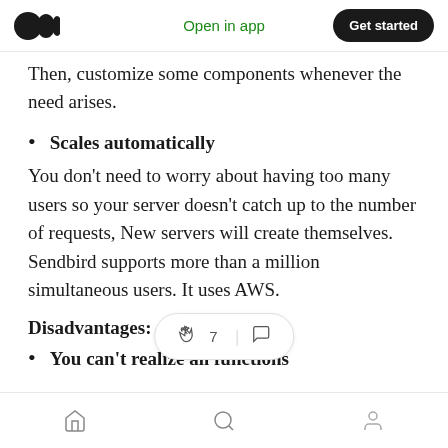Medium logo | Open in app | Get started
Then, customize some components whenever the need arises.
Scales automatically
You don't need to worry about having too many users so your server doesn't catch up to the number of requests, New servers will create themselves. Sendbird supports more than a million simultaneous users. It uses AWS.
Disadvantages:
You can't realize all functions
👏 7 | 💬 | Home | Search | Profile